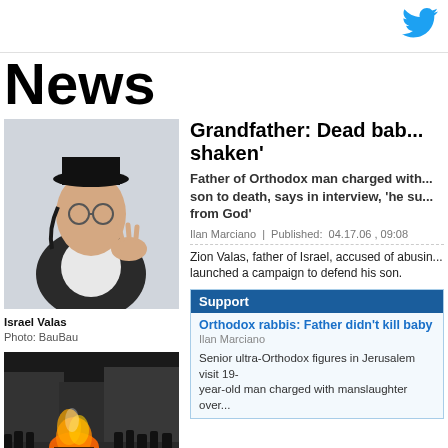News
[Figure (logo): Twitter bird icon in blue, top right corner]
News
[Figure (photo): Young Orthodox Jewish man with glasses, black hat, gesturing with his hand. Israel Valas. Photo: BauBau]
Israel Valas
Photo: BauBau
[Figure (photo): Night street scene with fire and crowd of ultra-Orthodox people in Jerusalem]
Grandfather: Dead bab... shaken'
Father of Orthodox man charged with... son to death, says in interview, 'he su... from God'
Ilan Marciano  |  Published:  04.17.06 , 09:08
Zion Valas, father of Israel, accused of abusin... launched a campaign to defend his son.
Support
Orthodox rabbis: Father didn't kill baby
Ilan Marciano
Senior ultra-Orthodox figures in Jerusalem visit 19-year-old man charged with manslaughter over...